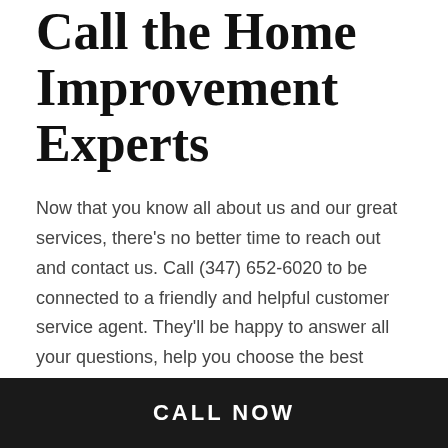Call the Home Improvement Experts
Now that you know all about us and our great services, there's no better time to reach out and contact us. Call (347) 652-6020 to be connected to a friendly and helpful customer service agent. They'll be happy to answer all your questions, help you choose the best home repair services for you, and give you honest answers to all your questions.
Soon, you'll understand why people all over Brooklyn say we're the best local handyman team around.
CALL NOW